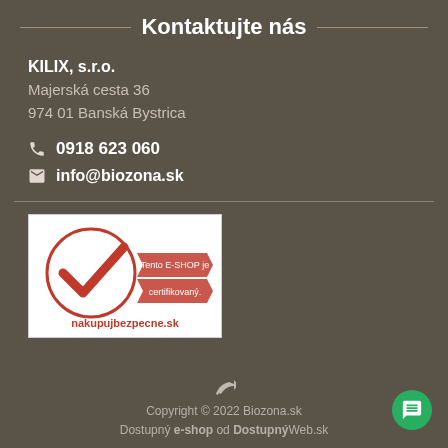Kontaktujte nás
KILIX, s.r.o.
Majerská cesta 36
974 01 Banská Bystrica
0918 623 060
info@biozona.sk
[Figure (logo): Nakupujbezpecne.sk certification badge with red checkmark and text 'Tento E-SHOP je certifikovaný.']
Copyright © 2022 Biozona.sk
Dostupný e-shop od DostupnýWeb.sk